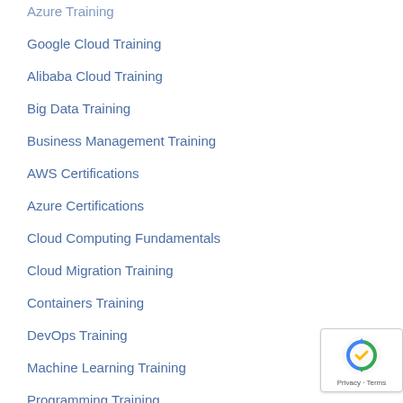Azure Training
Google Cloud Training
Alibaba Cloud Training
Big Data Training
Business Management Training
AWS Certifications
Azure Certifications
Cloud Computing Fundamentals
Cloud Migration Training
Containers Training
DevOps Training
Machine Learning Training
Programming Training
Security Training